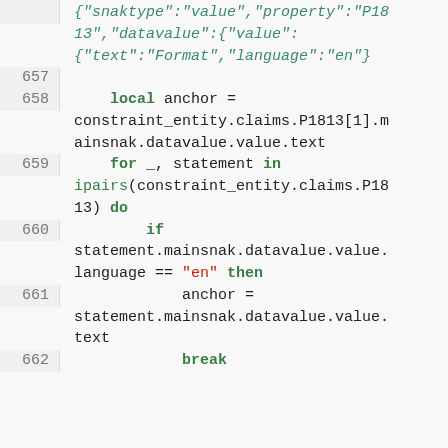{"snaktype":"value","property":"P1813","datavalue":{"value":{"text":"Format","language":"en"}
657
658    local anchor = constraint_entity.claims.P1813[1].mainsnak.datavalue.value.text
659    for _, statement in ipairs(constraint_entity.claims.P1813) do
660        if statement.mainsnak.datavalue.value.language == "en" then
661            anchor = statement.mainsnak.datavalue.value.text
662            break